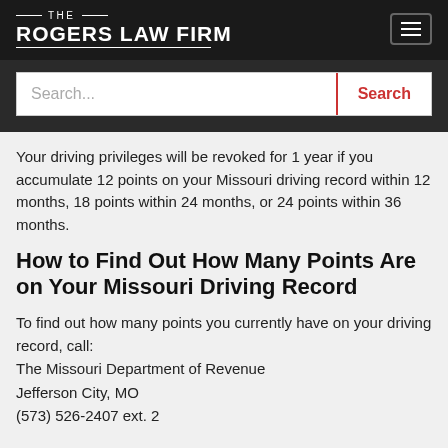THE ROGERS LAW FIRM
Your driving privileges will be revoked for 1 year if you accumulate 12 points on your Missouri driving record within 12 months, 18 points within 24 months, or 24 points within 36 months.
How to Find Out How Many Points Are on Your Missouri Driving Record
To find out how many points you currently have on your driving record, call:
The Missouri Department of Revenue
Jefferson City, MO
(573) 526-2407 ext. 2